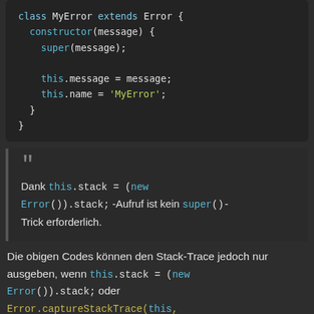[Figure (screenshot): Code block showing a JavaScript class MyError extends Error with constructor setting message, name properties using super()]
Dank this.stack = (new Error()).stack; -Aufruf ist kein super()-Trick erforderlich.
Die obigen Codes können den Stack-Trace jedoch nur ausgeben, wenn this.stack = (new Error()).stack; oder Error.captureStackTrace(this, this.constructor.name); in Babel aufgerufen wird. IMO, es ist vielleicht ein Thema hier.